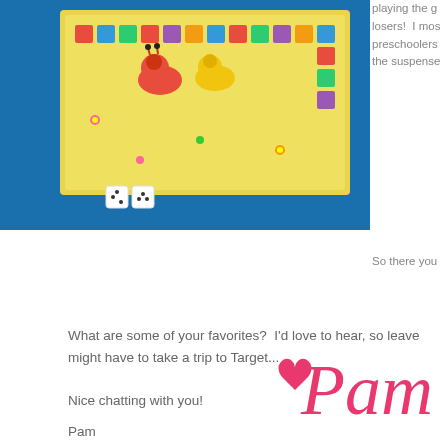[Figure (photo): A Candy Land or similar children's board game on a blue surface, showing colorful board game path with snail/figure pieces and dice]
playing the g losers!  I mos preschoolers the suspense
So there you
What are some of your favorites?  I'd love to hear, so leave might have to take a trip to Target...
Nice chatting with you!
Pam
[Figure (illustration): Decorative cursive signature reading heart Pam in pink/coral color]